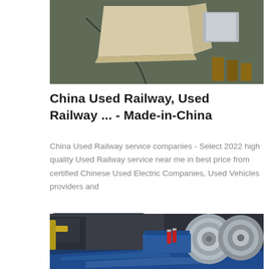[Figure (photo): Photo of flat sheet materials (beige/cream colored flat sheet and metallic/aluminum pieces) on a green surface]
China Used Railway, Used Railway ... - Made-in-China
China Used Railway service companies - Select 2022 high quality Used Railway service near me in best price from certified Chinese Used Electric Companies, Used Vehicles providers and
[Figure (other): GET QUOTE button (dark navy blue rounded rectangle with white uppercase text)]
[Figure (photo): Industrial warehouse photo showing large rolls of sheet metal/aluminum coils and blue metallic sheets stacked on floor, with machinery and fire extinguishers visible in background]